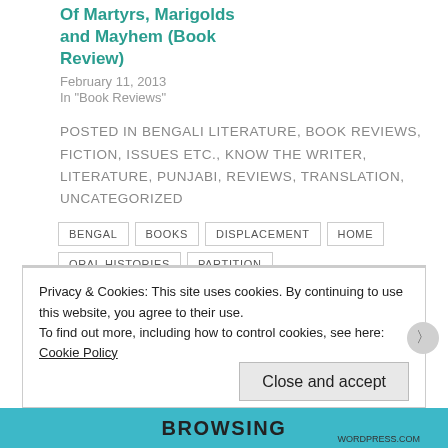Of Martyrs, Marigolds and Mayhem (Book Review)
February 11, 2013
In "Book Reviews"
POSTED IN BENGALI LITERATURE, BOOK REVIEWS, FICTION, ISSUES ETC., KNOW THE WRITER, LITERATURE, PUNJABI, REVIEWS, TRANSLATION, UNCATEGORIZED
BENGAL
BOOKS
DISPLACEMENT
HOME
ORAL HISTORIES
PARTITION
PARTITION LITERATURE
PARTITION OF INDIA
POLITICS
PUNJAB
RELIGION
Privacy & Cookies: This site uses cookies. By continuing to use this website, you agree to their use. To find out more, including how to control cookies, see here: Cookie Policy
Close and accept